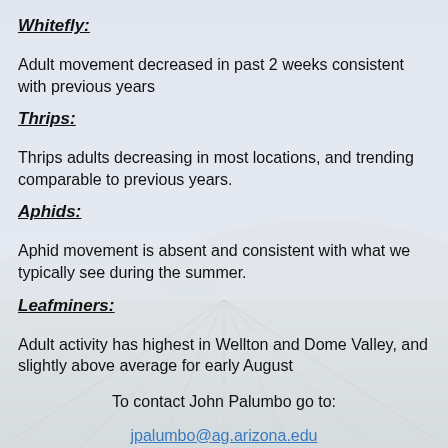Whitefly:
Adult movement decreased in past 2 weeks consistent with previous years
Thrips:
Thrips adults decreasing in most locations, and trending comparable to previous years.
Aphids:
Aphid movement is absent and consistent with what we typically see during the summer.
Leafminers:
Adult activity has highest in Wellton and Dome Valley, and slightly above average for early August
To contact John Palumbo go to:
jpalumbo@ag.arizona.edu
View Other Updates